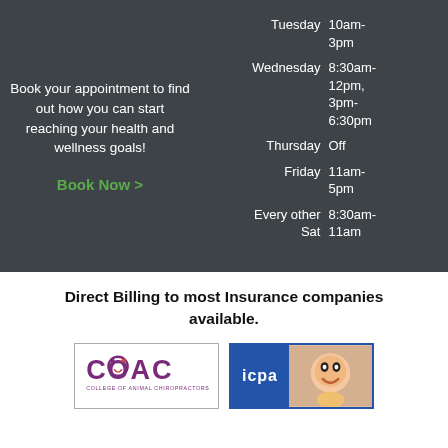Book your appointment to find out how you can start reaching your health and wellness goals!
Book Now >
| Day | Hours |
| --- | --- |
| Tuesday | 10am-3pm |
| Wednesday | 8:30am-12pm, 3pm-6:30pm |
| Thursday | Off |
| Friday | 11am-5pm |
| Every other Sat | 8:30am-11am |
Direct Billing to most Insurance companies available.
[Figure (logo): COAC College of Animal Chiropractors logo]
[Figure (logo): ICPA logo with baby photo]